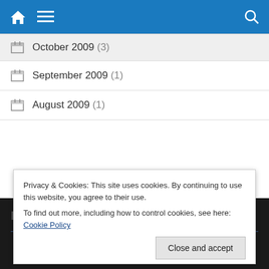Navigation bar with home, menu, and search icons
October 2009 (3)
September 2009 (1)
August 2009 (1)
Privacy & Cookies: This site uses cookies. By continuing to use this website, you agree to their use. To find out more, including how to control cookies, see here: Cookie Policy
Close and accept